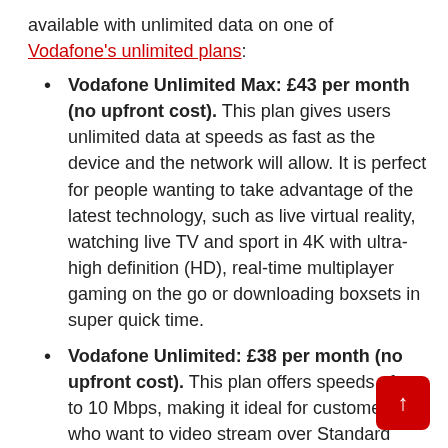available with unlimited data on one of Vodafone's unlimited plans:
Vodafone Unlimited Max: £43 per month (no upfront cost). This plan gives users unlimited data at speeds as fast as the device and the network will allow. It is perfect for people wanting to take advantage of the latest technology, such as live virtual reality, watching live TV and sport in 4K with ultra-high definition (HD), real-time multiplayer gaming on the go or downloading boxsets in super quick time.
Vodafone Unlimited: £38 per month (no upfront cost). This plan offers speeds of up to 10 Mbps, making it ideal for customers who want to video stream over Standard Definition or High Definition without worrying about their data usage.